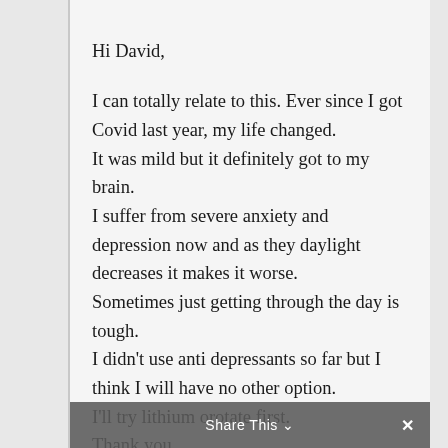Hi David,

I can totally relate to this. Ever since I got Covid last year, my life changed.
It was mild but it definitely got to my brain.
I suffer from severe anxiety and depression now and as they daylight decreases it makes it worse.
Sometimes just getting through the day is tough.
I didn't use anti depressants so far but I think I will have no other option.
I'll try lithium orotate first.
Thank you.
Share This ×